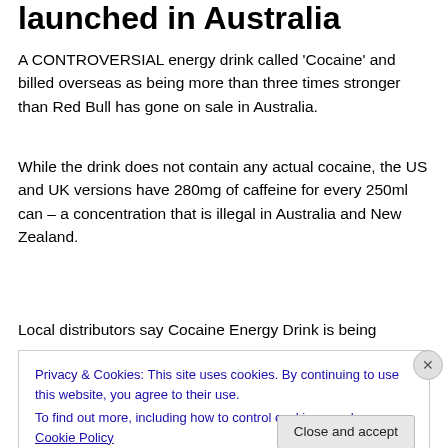launched in Australia
A CONTROVERSIAL energy drink called 'Cocaine' and billed overseas as being more than three times stronger than Red Bull has gone on sale in Australia.
While the drink does not contain any actual cocaine, the US and UK versions have 280mg of caffeine for every 250ml can – a concentration that is illegal in Australia and New Zealand.
Local distributors say Cocaine Energy Drink is being
Privacy & Cookies: This site uses cookies. By continuing to use this website, you agree to their use.
To find out more, including how to control cookies, see here: Cookie Policy
Close and accept
Advertisements